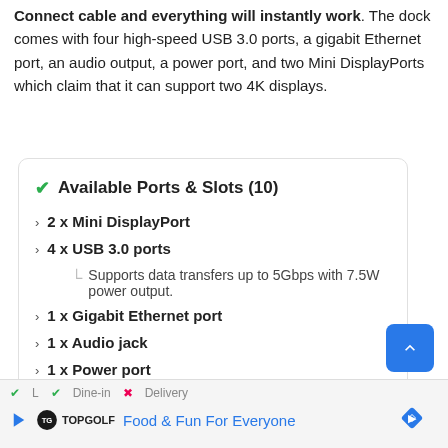Connect cable and everything will instantly work. The dock comes with four high-speed USB 3.0 ports, a gigabit Ethernet port, an audio output, a power port, and two Mini DisplayPorts which claim that it can support two 4K displays.
Available Ports & Slots (10)
2 x Mini DisplayPort
4 x USB 3.0 ports
Supports data transfers up to 5Gbps with 7.5W power output.
1 x Gigabit Ethernet port
1 x Audio jack
1 x Power port
1 x Kensington lock slot
1 x Surflink cable
Cable length: 25.6" (65cm).
L  Dine-in  Delivery | TopGolf Food & Fun For Everyone